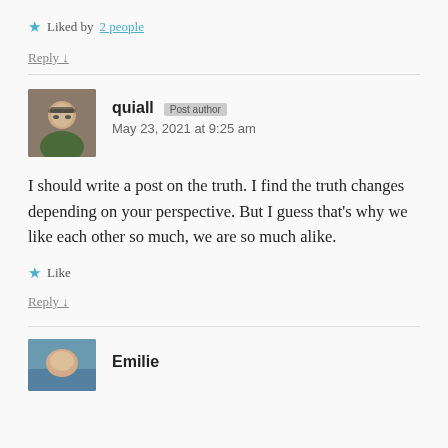★ Liked by 2 people
Reply ↓
quiall Post author
May 23, 2021 at 9:25 am
I should write a post on the truth. I find the truth changes depending on your perspective. But I guess that's why we like each other so much, we are so much alike.
★ Like
Reply ↓
Emilie